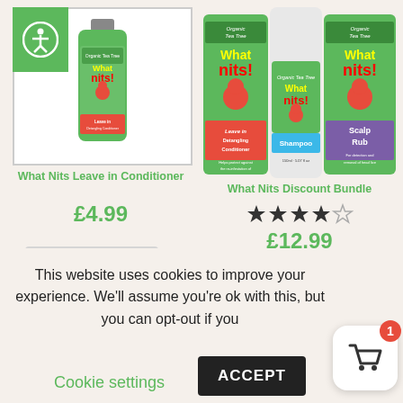[Figure (screenshot): Accessibility icon (person in circle) on green background, top-left corner]
[Figure (photo): What Nits Leave in Conditioner product bottle - green packaging with red ant mascot]
[Figure (photo): What Nits Discount Bundle - three product bottles: Leave in Detangling Conditioner, Shampoo, and Scalp Rub]
What Nits Leave in Conditioner
£4.99
What Nits Discount Bundle
[Figure (other): 4 out of 5 stars rating]
£12.99
This website uses cookies to improve your experience. We'll assume you're ok with this, but you can opt-out if you
Cookie settings
ACCEPT